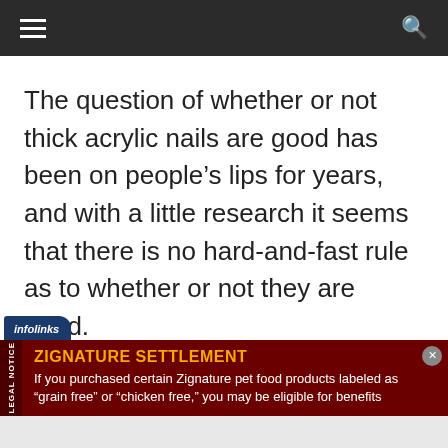navigation header with hamburger menu and search icon
The question of whether or not thick acrylic nails are good has been on people’s lips for years, and with a little research it seems that there is no hard-and-fast rule as to whether or not they are good.
[Figure (screenshot): Infolinks advertisement banner for Zignature Settlement legal notice. Dark red background with yellow bold title 'ZIGNATURE SETTLEMENT' and white body text: 'If you purchased certain Zignature pet food products labeled as “grain free” or “chicken free,” you may be eligible for benefits'. Infolinks branding label in top left. Legal Notice vertical label on left side.]